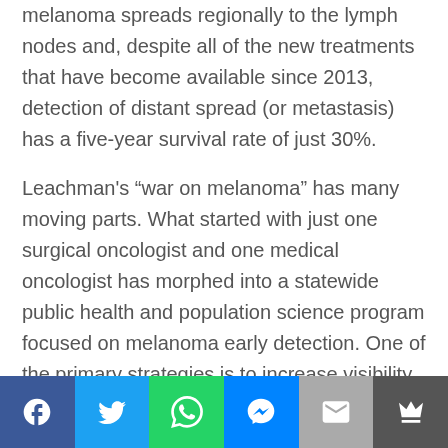melanoma spreads regionally to the lymph nodes and, despite all of the new treatments that have become available since 2013, detection of distant spread (or metastasis) has a five-year survival rate of just 30%.
Leachman's “war on melanoma” has many moving parts. What started with just one surgical oncologist and one medical oncologist has morphed into a statewide public health and population science program focused on melanoma early detection. One of the primary strategies is to increase visibility of melanoma in
Social share bar: Facebook, Twitter, WhatsApp, Messenger, Email, More